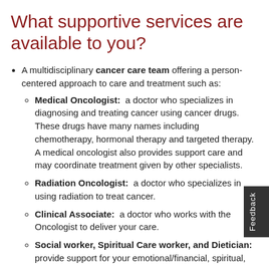What supportive services are available to you?
A multidisciplinary cancer care team offering a person-centered approach to care and treatment such as:
Medical Oncologist:  a doctor who specializes in diagnosing and treating cancer using cancer drugs. These drugs have many names including chemotherapy, hormonal therapy and targeted therapy. A medical oncologist also provides support care and may coordinate treatment given by other specialists.
Radiation Oncologist:  a doctor who specializes in using radiation to treat cancer.
Clinical Associate:  a doctor who works with the Oncologist to deliver your care.
Social worker, Spiritual Care worker, and Dietician:  provide support for your emotional/financial, spiritual,